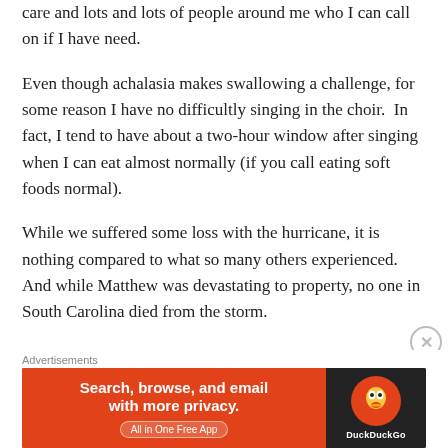care and lots and lots of people around me who I can call on if I have need.
Even though achalasia makes swallowing a challenge, for some reason I have no difficultly singing in the choir.  In fact, I tend to have about a two-hour window after singing when I can eat almost normally (if you call eating soft foods normal).
While we suffered some loss with the hurricane, it is nothing compared to what so many others experienced. And while Matthew was devastating to property, no one in South Carolina died from the storm.
And, finally, while it's sad that my brother-in-law is gone,
Advertisements
[Figure (other): DuckDuckGo advertisement banner: 'Search, browse, and email with more privacy. All in One Free App' on orange background with DuckDuckGo logo on dark background]